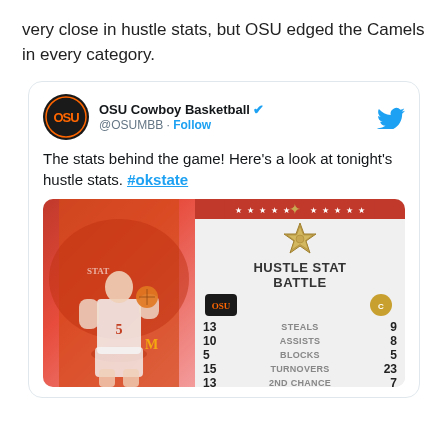very close in hustle stats, but OSU edged the Camels in every category.
[Figure (screenshot): Tweet from OSU Cowboy Basketball (@OSUMBB) with text: 'The stats behind the game! Here's a look at tonight's hustle stats. #okstate' and an embedded hustle stat battle graphic showing: STEALS OSU 13, Opponent 9; ASSISTS OSU 10, Opponent 8; BLOCKS OSU 5, Opponent 5; TURNOVERS OSU 15, Opponent 23; 2ND CHANCE OSU 13, Opponent 7]